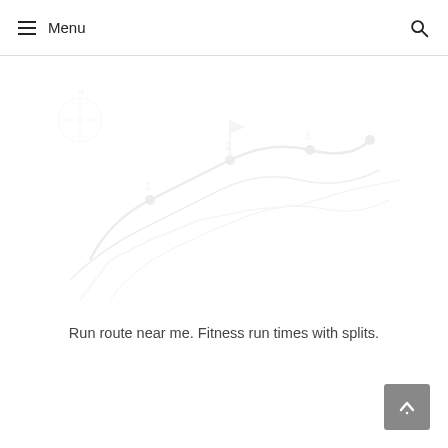Menu
[Figure (illustration): Faded/watermarked illustration of a running route map or fitness tracking graphic with light gray curved lines and route markers]
Run route near me. Fitness run times with splits.
[Figure (other): Gray scroll-to-top button with an upward arrow icon in the bottom right corner]